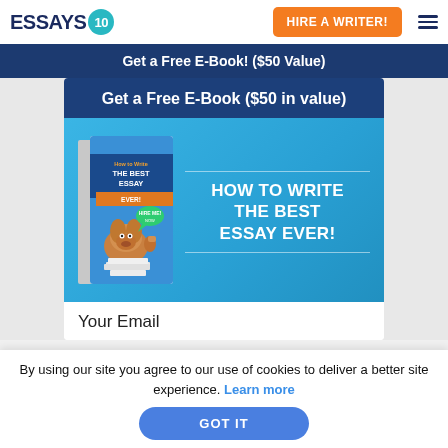ESSAYS IO | HIRE A WRITER!
Get a Free E-Book! ($50 Value)
Get a Free E-Book ($50 in value)
[Figure (illustration): Book cover illustration: 'How to Write THE BEST ESSAY EVER' with a cartoon dog character]
HOW TO WRITE THE BEST ESSAY EVER!
Your Email
By using our site you agree to our use of cookies to deliver a better site experience. Learn more
GOT IT